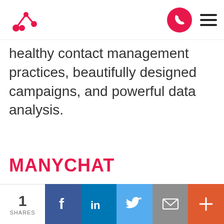[Logo] [Phone button] [Hamburger menu]
healthy contact management practices, beautifully designed campaigns, and powerful data analysis.
MANYCHAT
1 SHARES | Facebook | LinkedIn | Twitter | Email | +